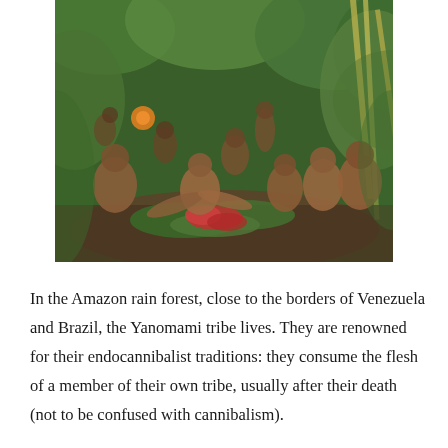[Figure (photo): A group of Yanomami tribe members in the Amazon rainforest, gathered around what appears to be food/meat on large leaves on the forest floor, surrounded by dense green vegetation.]
In the Amazon rain forest, close to the borders of Venezuela and Brazil, the Yanomami tribe lives. They are renowned for their endocannibalist traditions: they consume the flesh of a member of their own tribe, usually after their death (not to be confused with cannibalism).